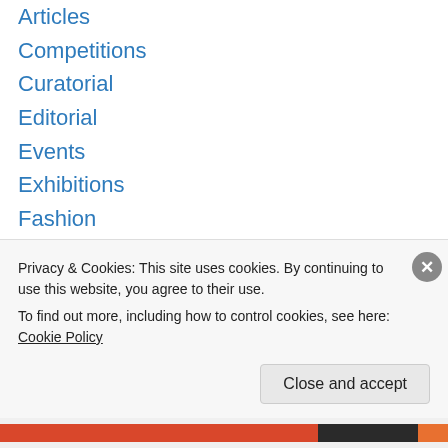Articles
Competitions
Curatorial
Editorial
Events
Exhibitions
Fashion
Favorites
Features
Field Trips
Film
Fine Art
Gallery
Grants
Privacy & Cookies: This site uses cookies. By continuing to use this website, you agree to their use. To find out more, including how to control cookies, see here: Cookie Policy